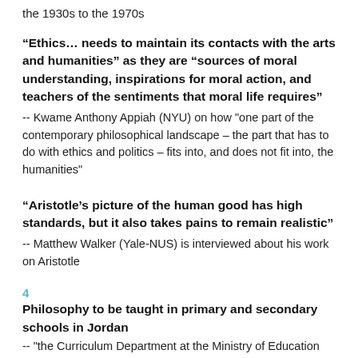the 1930s to the 1970s
“Ethics… needs to maintain its contacts with the arts and humanities” as they are “sources of moral understanding, inspirations for moral action, and teachers of the sentiments that moral life requires” -- Kwame Anthony Appiah (NYU) on how "one part of the contemporary philosophical landscape – the part that has to do with ethics and politics – fits into, and does not fit into, the humanities"
“Aristotle’s picture of the human good has high standards, but it also takes pains to remain realistic” -- Matthew Walker (Yale-NUS) is interviewed about his work on Aristotle
4. Philosophy to be taught in primary and secondary schools in Jordan -- "the Curriculum Department at the Ministry of Education